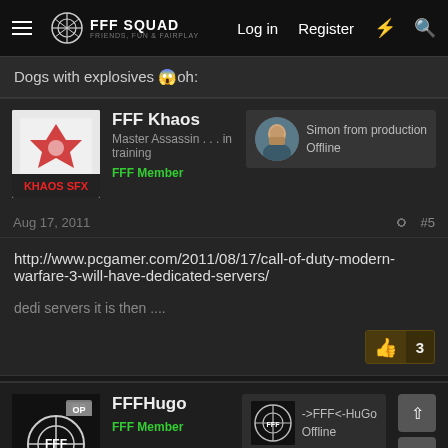FFF SQUAD - FRIENDS, FUN & FAIRPLAY | Log in | Register
Dogs with explosives 😱 oh:
FFF Khaos
Master Assassin . . . in training
FFF Member
Simon from production
Offline
Aug 17, 2011
#5
http://www.pcgamer.com/2011/08/17/call-of-duty-modern-warfare-3-will-have-dedicated-servers/

dedi servers it is then ....
FFFHugo
FFF Member
->FFF<-HuGo
Offline
Aug 17, 2011